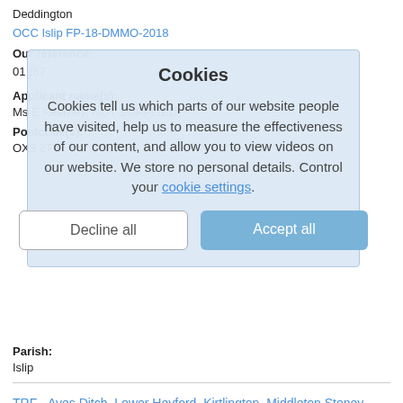Deddington
OCC Islip FP-18-DMMO-2018
Our reference:
01967
Applicant name(s):
Ms E Kearney, NOT SUPPLIED,
Postcode(s):
OX5 2TG
Parish:
Islip
TRF - Aves Ditch, Lower Heyford, Kirtlington, Middleton Stoney
Our reference:
02030
[Figure (screenshot): Cookie consent modal dialog with title 'Cookies', body text about cookie usage and privacy, a 'Decline all' button and an 'Accept all' button. The modal overlays the page content.]